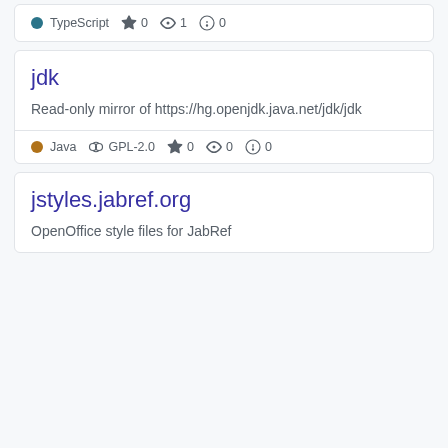TypeScript  ☆ 0  👁 1  ⓘ 0
jdk
Read-only mirror of https://hg.openjdk.java.net/jdk/jdk
Java  GPL-2.0  ☆ 0  👁 0  ⓘ 0
jstyles.jabref.org
OpenOffice style files for JabRef